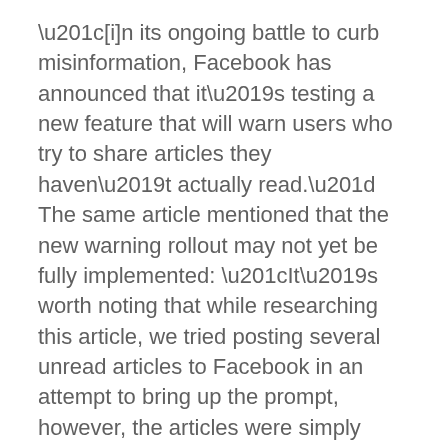“[i]n its ongoing battle to curb misinformation, Facebook has announced that it’s testing a new feature that will warn users who try to share articles they haven’t actually read.” The same article mentioned that the new warning rollout may not yet be fully implemented: “It’s worth noting that while researching this article, we tried posting several unread articles to Facebook in an attempt to bring up the prompt, however, the articles were simply posted as normal, suggesting the new feature either hasn’t rolled out globally yet, or has only rolled out to select users.”
Facebook also owns Instagram, which has taken similar measures to prevent users from